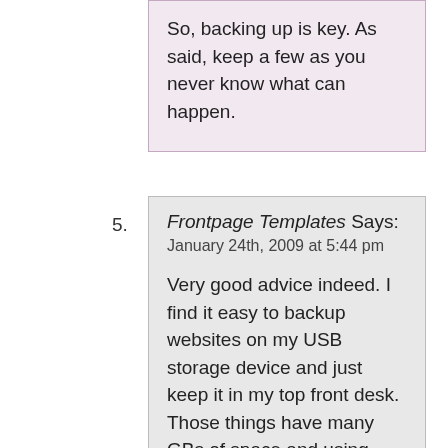So, backing up is key. As said, keep a few as you never know what can happen.
5. Frontpage Templates Says:
January 24th, 2009 at 5:44 pm

Very good advice indeed. I find it easy to backup websites on my USB storage device and just keep it in my top front desk. Those things have many GBs of space and using USB 2.0 is fast. My sites don't take up much space and the backup is quite and easy.
6. seo hosting web design Says:
February 18th, 2009 at 1:15 pm

Definitely a good advice. It is good to note that every time you are working for something be sure to have a backup of your files so that whatever worst that will happen, you won't be